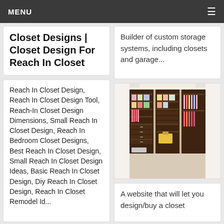MENU
Closet Designs | Closet Design For Reach In Closet
Reach In Closet Design, Reach In Closet Design Tool, Reach-In Closet Design Dimensions, Small Reach In Closet Design, Reach In Bedroom Closet Designs, Best Reach In Closet Design, Small Reach In Closet Design Ideas, Basic Reach In Closet Design, Diy Reach In Closet Design, Reach In Closet Remodel Id...
Builder of custom storage systems, including closets and garage...
[Figure (photo): Interior photo of a walk-in closet with dark wood shelving, hanging clothes, drawers, and colorful storage boxes.]
A website that will let you design/buy a closet